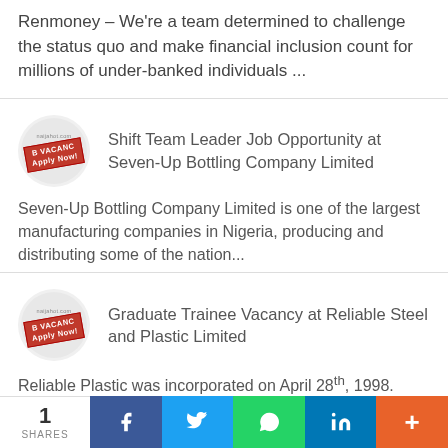Renmoney – We're a team determined to challenge the status quo and make financial inclusion count for millions of under-banked individuals ...
Shift Team Leader Job Opportunity at Seven-Up Bottling Company Limited
Seven-Up Bottling Company Limited is one of the largest manufacturing companies in Nigeria, producing and distributing some of the nation...
Graduate Trainee Vacancy at Reliable Steel and Plastic Limited
Reliable Plastic was incorporated on April 28th, 1998.
1 SHARES  f  t  [whatsapp]  in  +